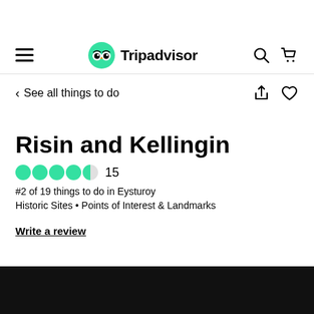Tripadvisor
< See all things to do
Risin and Kellingin
4.5 stars  15
#2 of 19 things to do in Eysturoy
Historic Sites • Points of Interest & Landmarks
Write a review